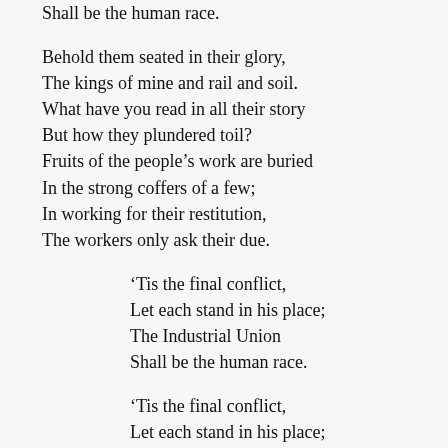Shall be the human race.

Behold them seated in their glory,
The kings of mine and rail and soil.
What have you read in all their story
But how they plundered toil?
Fruits of the people’s work are buried
In the strong coffers of a few;
In working for their restitution,
The workers only ask their due.

‘Tis the final conflict,
Let each stand in his place;
The Industrial Union
Shall be the human race.
‘Tis the final conflict,
Let each stand in his place;
The Industrial Union
Shall be the human race.